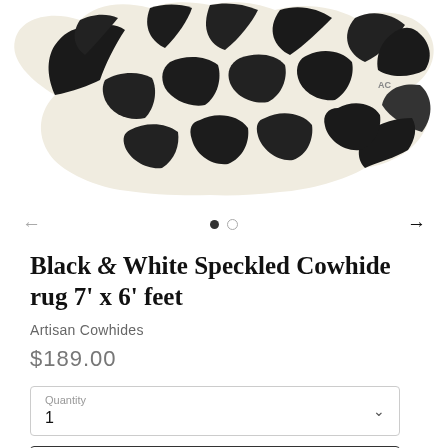[Figure (photo): Black and white speckled cowhide rug shown from above against a white background. The hide has an irregular shape with dark patches on a cream/white base.]
Black & White Speckled Cowhide rug 7' x 6' feet
Artisan Cowhides
$189.00
Quantity
1
Add to Cart